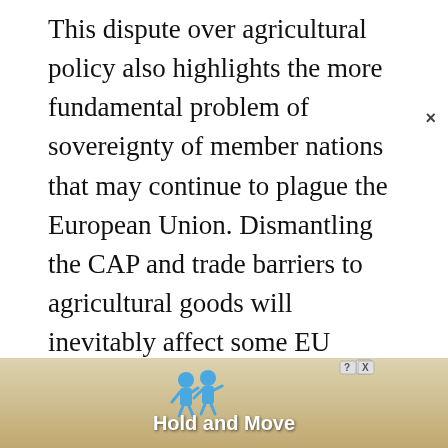This dispute over agricultural policy also highlights the more fundamental problem of sovereignty of member nations that may continue to plague the European Union. Dismantling the CAP and trade barriers to agricultural goods will inevitably affect some EU nations more than others. This tension manifested itself this week in a clash between France and EU Trade Commissioner Peter Mandelson. France claims that Mandelson exceeded his mandate at the negotiating table by offering 70-percent subsidy cuts, up 5 percent from the figure the European Union agreed upon. In response to the U.S. offer
[Figure (other): Advertisement banner at bottom of page showing 'Hold and Move' with animated figures, help and close buttons]